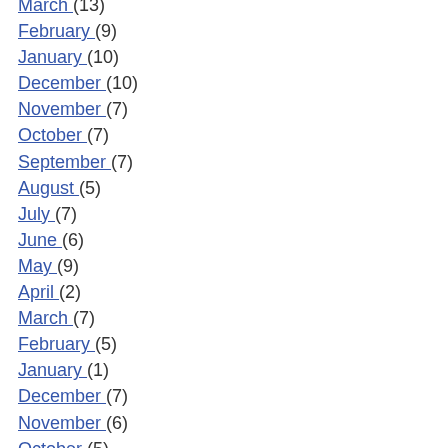March (13)
February (9)
January (10)
December (10)
November (7)
October (7)
September (7)
August (5)
July (7)
June (6)
May (9)
April (2)
March (7)
February (5)
January (1)
December (7)
November (6)
October (5)
September (7)
August (17)
July (13)